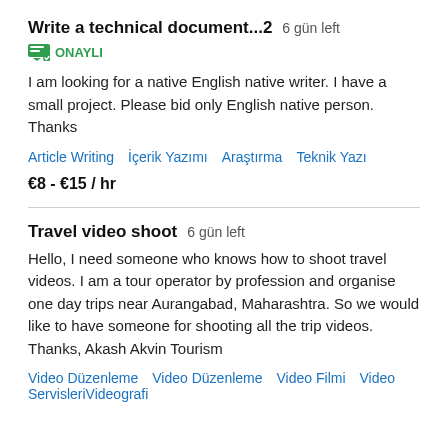Write a technical document...2  6 gün left
ONAYLI
I am looking for a native English native writer. I have a small project. Please bid only English native person. Thanks
Article Writing   İçerik Yazımı   Araştırma   Teknik Yazı
€8 - €15 / hr
Travel video shoot  6 gün left
Hello, I need someone who knows how to shoot travel videos. I am a tour operator by profession and organise one day trips near Aurangabad, Maharashtra. So we would like to have someone for shooting all the trip videos. Thanks, Akash Akvin Tourism
Video Düzenleme   Video Düzenleme   Video Filmi   Video Servisleri   Videografi